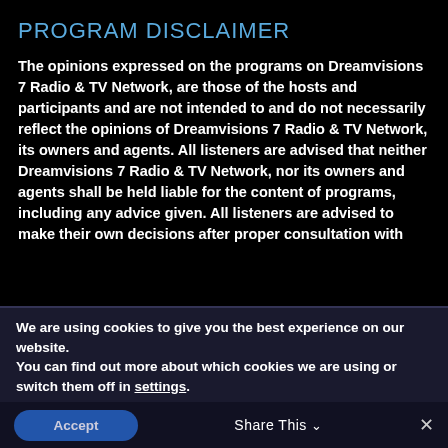PROGRAM DISCLAIMER
The opinions expressed on the programs on Dreamvisions 7 Radio & TV Network, are those of the hosts and participants and are not intended to and do not necessarily reflect the opinions of Dreamvisions 7 Radio & TV Network, its owners and agents. All listeners are advised that neither Dreamvisions 7 Radio & TV Network, nor its owners and agents shall be held liable for the content of programs, including any advice given. All listeners are advised to make their own decisions after proper consultation with
We are using cookies to give you the best experience on our website.
You can find out more about which cookies we are using or switch them off in settings.
Accept
Share This  ∨
×